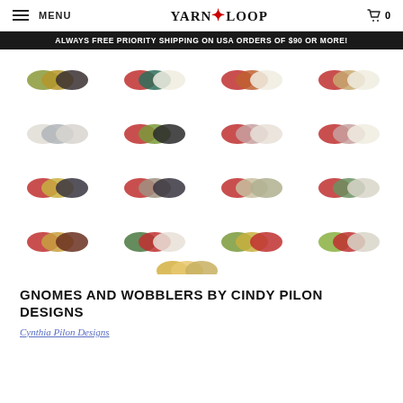MENU | YARN LOOP | 0
ALWAYS FREE PRIORITY SHIPPING ON USA ORDERS OF $90 OR MORE!
[Figure (photo): Grid of yarn bundle product images in various color combinations (olive/mustard/dark, red/teal/cream, red/rust/cream, red/tan/cream, cream/gray/light, red/green/dark, red/green/cream, red/green/cream, red/mustard/dark, red/brown/olive, red/green/cream, red/mustard/cream, yellow/green/mustard)]
GNOMES AND WOBBLERS BY CINDY PILON DESIGNS
Cynthia Pilon Designs